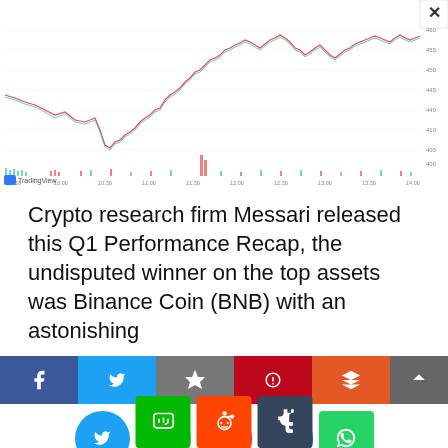[Figure (continuous-plot): TradingView candlestick/line chart showing cryptocurrency price action (BNB) with volume bars at bottom. Price rises from approximately 400 on the left to about 450-460 on the right with a general uptrend. Time axis shows intraday intervals. Y-axis shows price from ~400 to ~460. A red spike appears in the volume area around the middle. Teal/green and red volume bars visible at bottom.]
Crypto research firm Messari released this Q1 Performance Recap, the undisputed winner on the top assets was Binance Coin (BNB) with an astonishing